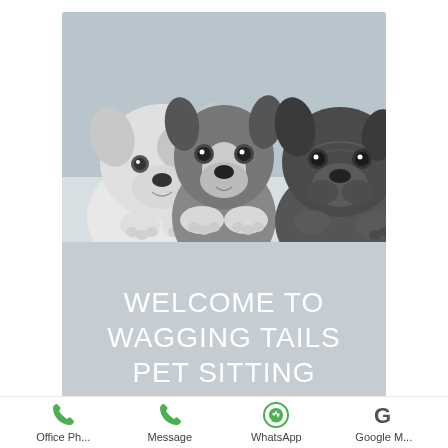[Figure (photo): Three French Bulldog puppies peeking over a white ledge against a light grey background. Left puppy is white with black patches, center puppy is black and white, right puppy is dark grey/black.]
WELCOME TO WAGGING TAILS PET SITTING
Office Ph...
Message
WhatsApp
Google M...